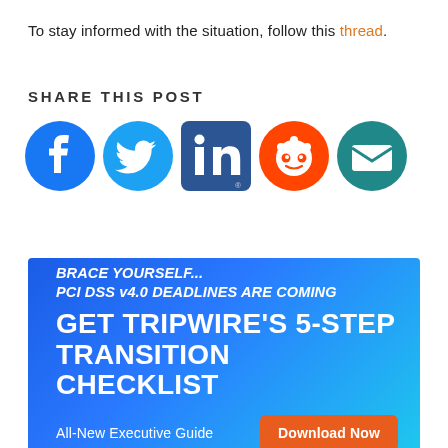To stay informed with the situation, follow this thread.
SHARE THIS POST
[Figure (infographic): Social media sharing icons: Facebook (blue circle), Twitter (light blue circle), LinkedIn (dark blue/navy square), Reddit (orange circle), Email (teal circle)]
[Figure (infographic): Advertisement banner with blue gradient background. Text: 'BRACE YOURSELF... PCI DSS v4.0 DEADLINES ARE COMING' in italic, 'GET TRIPWIRE'S 5-STEP TRANSITION CHECKLIST' in large bold white text, 'All-New Executive Guide' in white, and orange 'Download Now' button.]